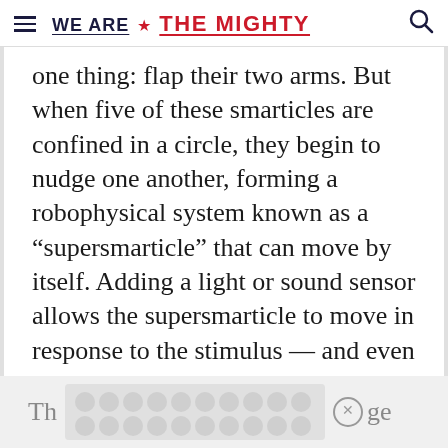WE ARE ★ THE MIGHTY
one thing: flap their two arms. But when five of these smarticles are confined in a circle, they begin to nudge one another, forming a robophysical system known as a “supersmarticle” that can move by itself. Adding a light or sound sensor allows the supersmarticle to move in response to the stimulus — and even be controlled well enough to navigate a maze.
Th... sm... ge